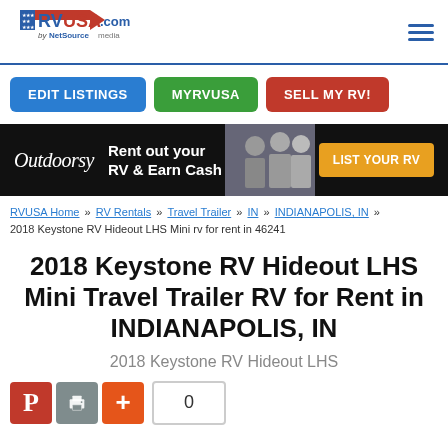[Figure (logo): RVUSA.com by NetSource media logo with American flag graphic]
[Figure (infographic): Navigation buttons: EDIT LISTINGS (blue), MYRVUSA (green), SELL MY RV! (red)]
[Figure (infographic): Outdoorsy advertisement banner: Rent out your RV & Earn Cash, LIST YOUR RV button]
RVUSA Home » RV Rentals » Travel Trailer » IN » INDIANAPOLIS, IN » 2018 Keystone RV Hideout LHS Mini rv for rent in 46241
2018 Keystone RV Hideout LHS Mini Travel Trailer RV for Rent in INDIANAPOLIS, IN
2018 Keystone RV Hideout LHS
[Figure (infographic): Social sharing buttons: Pinterest, Print, Plus, and count showing 0]